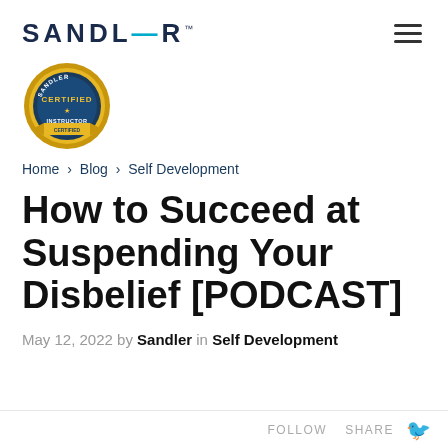SANDLER™
[Figure (logo): Sandler Certified Instructor badge/seal — circular gold and blue badge with 'CERTIFIED' text and ribbon]
Home › Blog › Self Development
How to Succeed at Suspending Your Disbelief [PODCAST]
May 12, 2022 by Sandler in Self Development
FOLLOW   SHARE